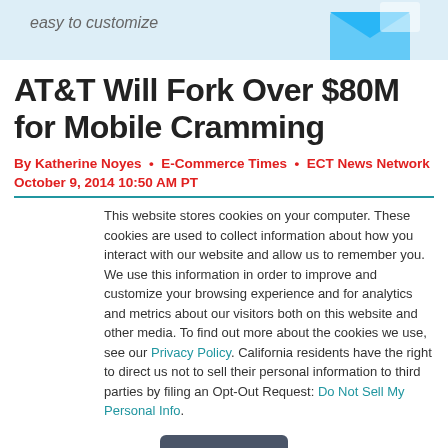[Figure (illustration): Blue envelope/email icon on light blue banner background with partial text 'easy to customize']
AT&T Will Fork Over $80M for Mobile Cramming
By Katherine Noyes • E-Commerce Times • ECT News Network
October 9, 2014 10:50 AM PT
This website stores cookies on your computer. These cookies are used to collect information about how you interact with our website and allow us to remember you. We use this information in order to improve and customize your browsing experience and for analytics and metrics about our visitors both on this website and other media. To find out more about the cookies we use, see our Privacy Policy. California residents have the right to direct us not to sell their personal information to third parties by filing an Opt-Out Request: Do Not Sell My Personal Info.